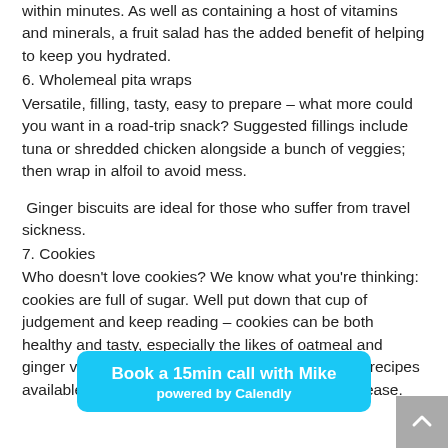within minutes. As well as containing a host of vitamins and minerals, a fruit salad has the added benefit of helping to keep you hydrated.
6. Wholemeal pita wraps
Versatile, filling, tasty, easy to prepare – what more could you want in a road-trip snack? Suggested fillings include tuna or shredded chicken alongside a bunch of veggies; then wrap in alfoil to avoid mess.
Ginger biscuits are ideal for those who suffer from travel sickness.
7. Cookies
Who doesn't love cookies? We know what you're thinking: cookies are full of sugar. Well put down that cup of judgement and keep reading – cookies can be both healthy and tasty, especially the likes of oatmeal and ginger varieties. There are many low or sugar-free recipes available that w... with relative ease.
[Figure (other): Calendly booking banner: 'Book a 15min call with Mike powered by Calendly' on a cyan/blue background]